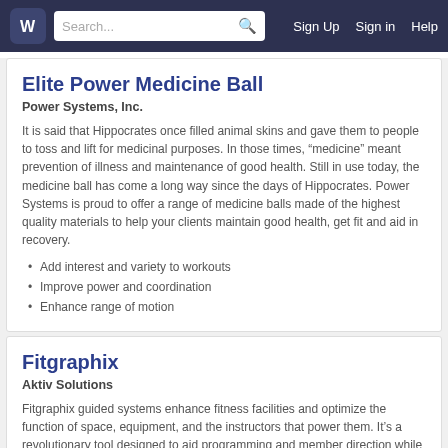Search... | Sign Up | Sign in | Help
Elite Power Medicine Ball
Power Systems, Inc.
It is said that Hippocrates once filled animal skins and gave them to people to toss and lift for medicinal purposes. In those times, “medicine” meant prevention of illness and maintenance of good health. Still in use today, the medicine ball has come a long way since the days of Hippocrates. Power Systems is proud to offer a range of medicine balls made of the highest quality materials to help your clients maintain good health, get fit and aid in recovery.
Add interest and variety to workouts
Improve power and coordination
Enhance range of motion
Fitgraphix
Aktiv Solutions
Fitgraphix guided systems enhance fitness facilities and optimize the function of space, equipment, and the instructors that power them. It’s a revolutionary tool designed to aid programming and member direction while increasing safety and excitement for all facility types. Movement guidance can be established for single or group users alike by choosing from our product catalo